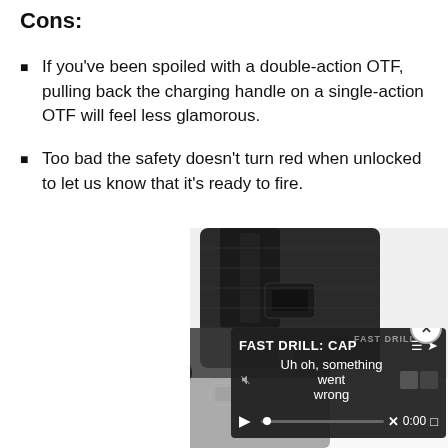Cons:
If you've been spoiled with a double-action OTF, pulling back the charging handle on a single-action OTF will feel less glamorous.
Too bad the safety doesn't turn red when unlocked to let us know that it's ready to fire.
[Figure (photo): A knife with a black tactical strap/holster attachment, photographed close-up showing the clip and handle detail.]
[Figure (screenshot): A video player overlay showing 'FAST DRILL: CAP' title with an error message 'Uh oh, something went wrong' and video controls at 0:00.]